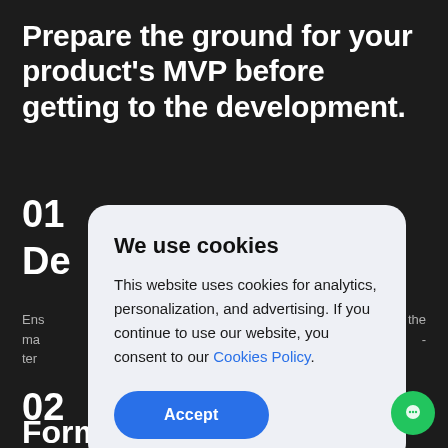Prepare the ground for your product's MVP before getting to the development.
01
De
Ens the ma - ter
02
Formulate value
[Figure (screenshot): Cookie consent modal dialog with title 'We use cookies', body text about analytics/personalization/advertising with a Cookies Policy link, and a blue Accept button. Behind the modal is a dark website with bold white text headings.]